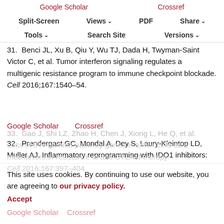Google Scholar   Crossref   Split-Screen   Views   PDF   Share   Tools   Search Site   Versions
31.  Benci JL, Xu B, Qiu Y, Wu TJ, Dada H, Twyman-Saint Victor C, et al. Tumor interferon signaling regulates a multigenic resistance program to immune checkpoint blockade. Cell 2016;167:1540–54.
Google Scholar    Crossref
32.  Prendergast GC, Mondal A, Dey S, Laury-Kleintop LD, Muller AJ. Inflammatory reprogramming with IDO1 inhibitors: turning immunologically unresponsive 'cold' tumors 'hot'. Trends Cancer 2018;4:38–58.
Google Scholar    Crossref
33.  Gao J, Shi LZ, Zhao H, Chen J, Xiong L, He Q, et al. Loss of IFN-gamma pathway genes in tumor cells as a mechanism of resistance to anti-CTLA-4 therapy. Cell 2016;167:397–404.
Google Scholar    Crossref
This site uses cookies. By continuing to use our website, you are agreeing to our privacy policy. Accept